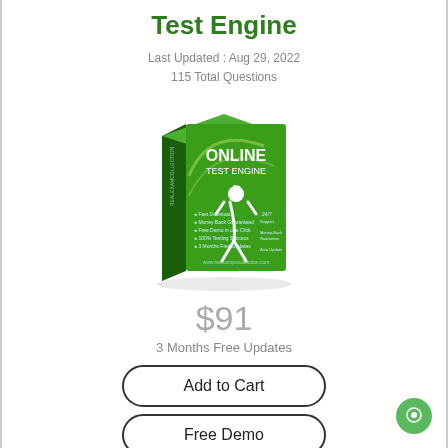Test Engine
Last Updated : Aug 29, 2022
115 Total Questions
[Figure (illustration): Green 3D product box labeled ONLINE TEST ENGINE with a graduation figure icon and feature list]
$91
3 Months Free Updates
Add to Cart
Free Demo